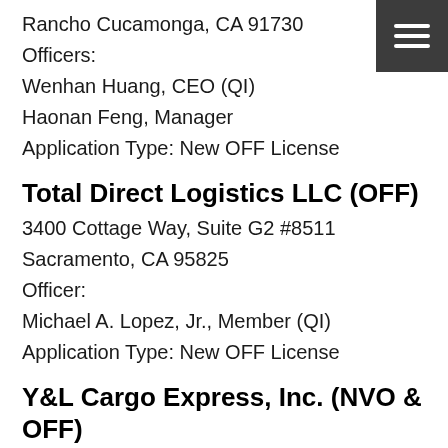Rancho Cucamonga, CA 91730
Officers:
Wenhan Huang, CEO (QI)
Haonan Feng, Manager
Application Type: New OFF License
Total Direct Logistics LLC (OFF)
3400 Cottage Way, Suite G2 #8511
Sacramento, CA 95825
Officer:
Michael A. Lopez, Jr., Member (QI)
Application Type: New OFF License
Y&L Cargo Express, Inc. (NVO & OFF)
4411 Schaefer Avenue
Chino, CA 91710
Officers: